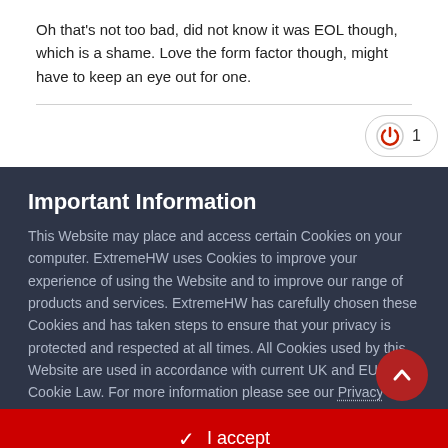Oh that's not too bad, did not know it was EOL though, which is a shame. Love the form factor though, might have to keep an eye out for one.
Important Information
This Website may place and access certain Cookies on your computer. ExtremeHW uses Cookies to improve your experience of using the Website and to improve our range of products and services. ExtremeHW has carefully chosen these Cookies and has taken steps to ensure that your privacy is protected and respected at all times. All Cookies used by this Website are used in accordance with current UK and EU Cookie Law. For more information please see our Privacy Policy
✓ I accept